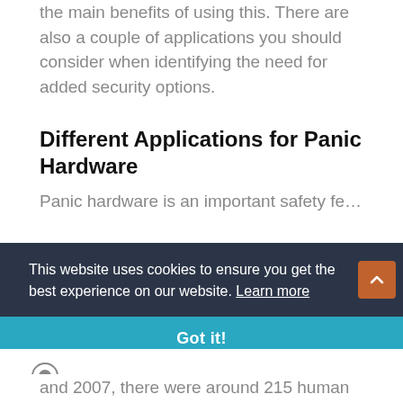the main benefits of using this. There are also a couple of applications you should consider when identifying the need for added security options.
Different Applications for Panic Hardware
Panic hardware is an important safety fe…
This website uses cookies to ensure you get the best experience on our website. Learn more
Got it!
[Figure (other): Small circular icon/logo at bottom of page]
and 2007, there were around 215 human